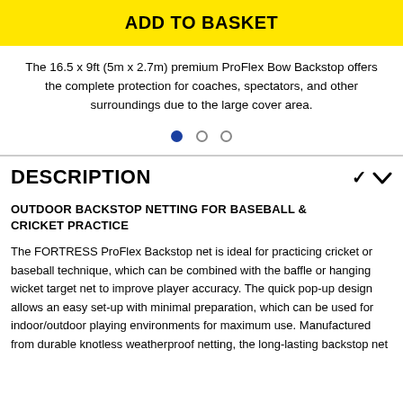ADD TO BASKET
The 16.5 x 9ft (5m x 2.7m) premium ProFlex Bow Backstop offers the complete protection for coaches, spectators, and other surroundings due to the large cover area.
[Figure (other): Carousel navigation dots: one filled blue dot and two empty circle dots]
DESCRIPTION
OUTDOOR BACKSTOP NETTING FOR BASEBALL & CRICKET PRACTICE
The FORTRESS ProFlex Backstop net is ideal for practicing cricket or baseball technique, which can be combined with the baffle or hanging wicket target net to improve player accuracy. The quick pop-up design allows an easy set-up with minimal preparation, which can be used for indoor/outdoor playing environments for maximum use. Manufactured from durable knotless weatherproof netting, the long-lasting backstop net...